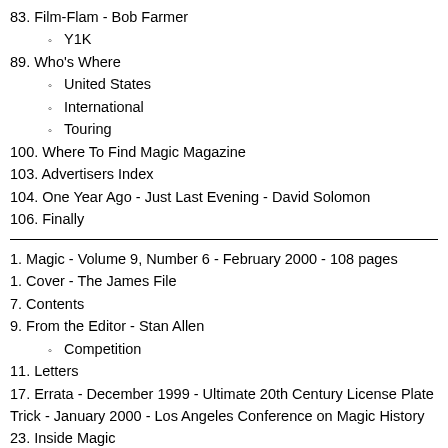83. Film-Flam - Bob Farmer
Y1K
89. Who's Where
United States
International
Touring
100. Where To Find Magic Magazine
103. Advertisers Index
104. One Year Ago - Just Last Evening - David Solomon
106. Finally
1. Magic - Volume 9, Number 6 - February 2000 - 108 pages
1. Cover - The James File
7. Contents
9. From the Editor - Stan Allen
Competition
11. Letters
17. Errata - December 1999 - Ultimate 20th Century License Plate Trick - January 2000 - Los Angeles Conference on Magic History
23. Inside Magic
Television
News
Milestones
Becky Blaney & Bruce Mason - married
Frank Herman - died
Billy Bishop - died
Robert Reinhart - died
George Carl - died